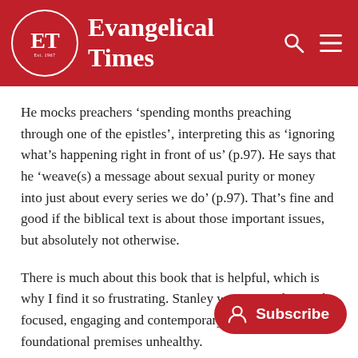Evangelical Times
He mocks preachers ‘spending months preaching through one of the epistles’, interpreting this as ‘ignoring what’s happening right in front of us’ (p.97). He says that he ‘weave(s) a message about sexual purity or money into just about every series we do’ (p.97). That’s fine and good if the biblical text is about those important issues, but absolutely not otherwise.
There is much about this book that is helpful, which is why I find it so frustrating. Stanley wants preachers to be focused, engaging and contemporary, but his argu… his foundational premises unhealthy.